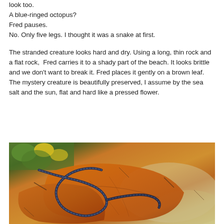look too.
A blue-ringed octopus?
Fred pauses.
No. Only five legs. I thought it was a snake at first.
The stranded creature looks hard and dry. Using a long, thin rock and a flat rock,  Fred carries it to a shady part of the beach. It looks brittle and we don't want to break it. Fred places it gently on a brown leaf. The mystery creature is beautifully preserved, I assume by the sea salt and the sun, flat and hard like a pressed flower.
[Figure (photo): A dried, dark blue-black segmented creature (possibly a brittle star or similar marine animal) coiled on large brown dried leaves on a sandy ground, with green plants visible in the background.]